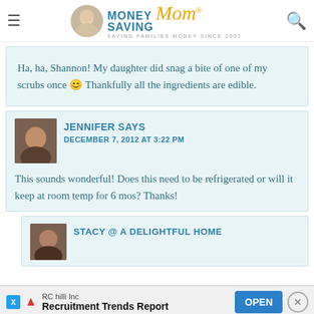Money Saving Mom® — Saving Families Money Since 2007
Ha, ha, Shannon! My daughter did snag a bite of one of my scrubs once 😊 Thankfully all the ingredients are edible.
JENNIFER SAYS
DECEMBER 7, 2012 AT 3:22 PM

This sounds wonderful! Does this need to be refrigerated or will it keep at room temp for 6 mos? Thanks!
STACY @ A DELIGHTFUL HOME
RC hilli Inc
Recruitment Trends Report
OPEN